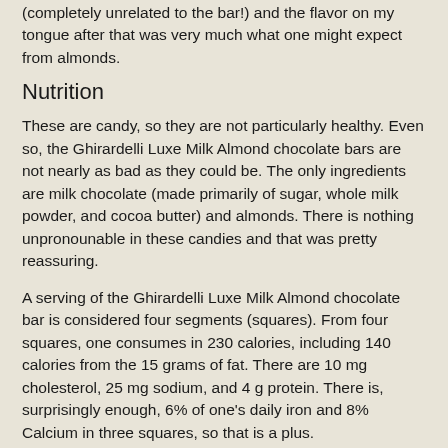(completely unrelated to the bar!) and the flavor on my tongue after that was very much what one might expect from almonds.
Nutrition
These are candy, so they are not particularly healthy. Even so, the Ghirardelli Luxe Milk Almond chocolate bars are not nearly as bad as they could be. The only ingredients are milk chocolate (made primarily of sugar, whole milk powder, and cocoa butter) and almonds. There is nothing unpronounable in these candies and that was pretty reassuring.
A serving of the Ghirardelli Luxe Milk Almond chocolate bar is considered four segments (squares). From four squares, one consumes in 230 calories, including 140 calories from the 15 grams of fat. There are 10 mg cholesterol, 25 mg sodium, and 4 g protein. There is, surprisingly enough, 6% of one's daily iron and 8% Calcium in three squares, so that is a plus.
These are not Vegan-compliant, nor are they recommended